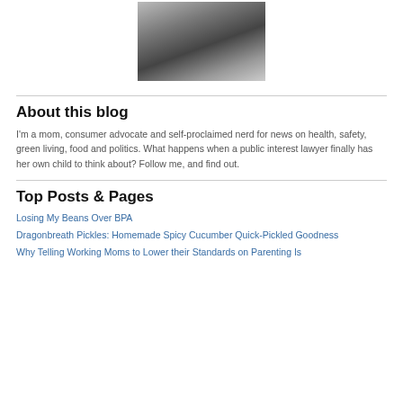[Figure (photo): Black and white photo of a woman with glasses and a baby/toddler]
About this blog
I'm a mom, consumer advocate and self-proclaimed nerd for news on health, safety, green living, food and politics. What happens when a public interest lawyer finally has her own child to think about? Follow me, and find out.
Top Posts & Pages
Losing My Beans Over BPA
Dragonbreath Pickles: Homemade Spicy Cucumber Quick-Pickled Goodness
Why Telling Working Moms to Lower their Standards on Parenting Is